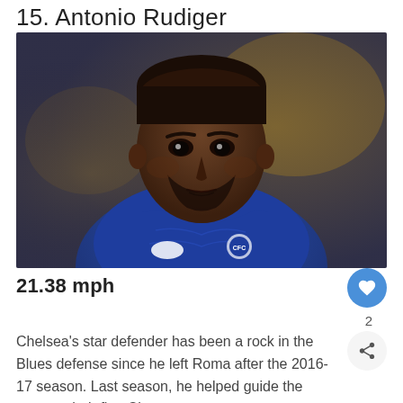15. Antonio Rudiger
[Figure (photo): Photo of Antonio Rudiger wearing a blue Chelsea FC jersey, looking intently forward, with a blurred stadium background]
21.38 mph
Chelsea's star defender has been a rock in the Blues defense since he left Roma after the 2016-17 season. Last season, he helped guide the team to their first Champions League...